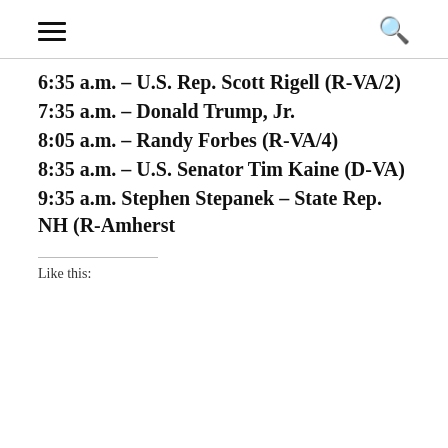≡  🔍
6:35 a.m. – U.S. Rep. Scott Rigell (R-VA/2)
7:35 a.m. – Donald Trump, Jr.
8:05 a.m. – Randy Forbes (R-VA/4)
8:35 a.m. – U.S. Senator Tim Kaine (D-VA)
9:35 a.m. Stephen Stepanek – State Rep. NH (R-Amherst
Like this: